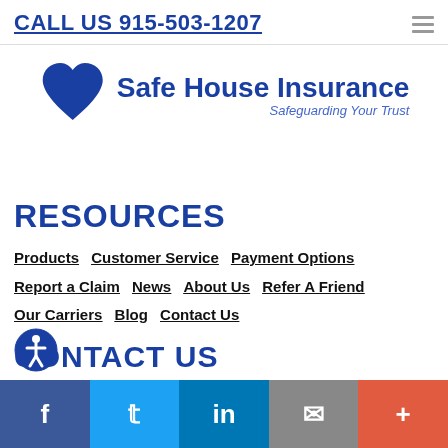CALL US 915-503-1207
[Figure (logo): Safe House Insurance logo with heart icon and tagline 'Safeguarding Your Trust']
RESOURCES
Products  Customer Service  Payment Options  Report a Claim  News  About Us  Refer A Friend  Our Carriers  Blog  Contact Us
CONTACT US
6065 Montana Ave, Suite C-8
El Paso, TX 79925